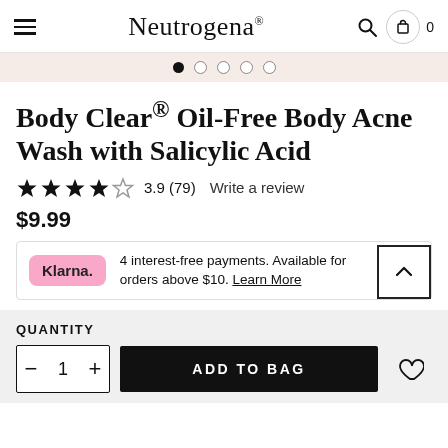Neutrogena®
[Figure (other): Carousel navigation dots — 5 dots, first filled/active, rest empty]
Body Clear® Oil-Free Body Acne Wash with Salicylic Acid
★★★★☆ 3.9 (79)   Write a review
$9.99
4 interest-free payments. Available for orders above $10. Learn More
QUANTITY
− 1 +   ADD TO BAG